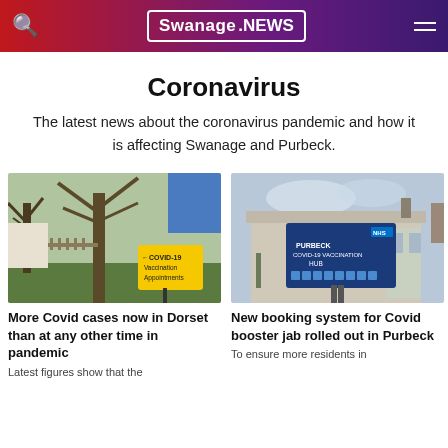Swanage .NEWS
Coronavirus
The latest news about the coronavirus pandemic and how it is affecting Swanage and Purbeck.
[Figure (photo): Outdoor scene with trees and a yellow sign reading 'COVID-19 Vaccination Appointments' with an arrow pointing left]
More Covid cases now in Dorset than at any other time in pandemic
Latest figures show that the
[Figure (photo): Exterior of a building with an NHS Purbeck COVID-19 Vaccination Hub sign]
New booking system for Covid booster jab rolled out in Purbeck
To ensure more residents in